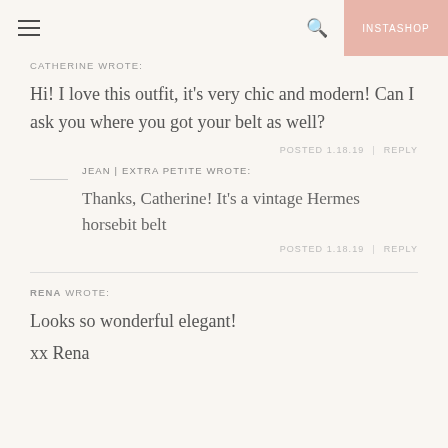INSTASHOP
CATHERINE WROTE:
Hi! I love this outfit, it's very chic and modern! Can I ask you where you got your belt as well?
POSTED 1.18.19 | REPLY
JEAN | EXTRA PETITE WROTE:
Thanks, Catherine! It's a vintage Hermes horsebit belt
POSTED 1.18.19 | REPLY
RENA WROTE:
Looks so wonderful elegant!
xx Rena